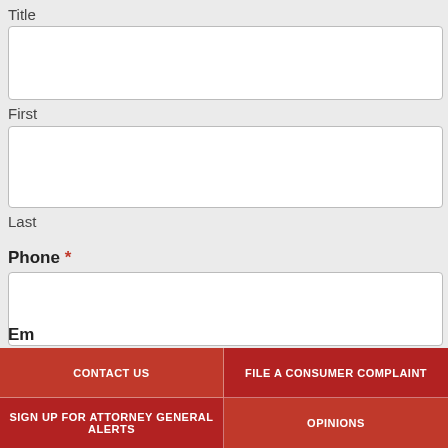Title
First
Last
Phone *
Phone Type *
Email
CONTACT US | FILE A CONSUMER COMPLAINT | SIGN UP FOR ATTORNEY GENERAL ALERTS | OPINIONS